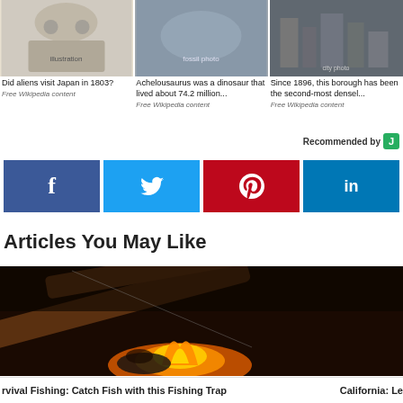[Figure (photo): Three small article preview images side by side: an alien/Japanese art illustration, a dinosaur fossil, and a photo of a dense urban area]
Did aliens visit Japan in 1803?
Free Wikipedia content
Achelousaurus was a dinosaur that lived about 74.2 million...
Free Wikipedia content
Since 1896, this borough has been the second-most densel...
Free Wikipedia content
Recommended by J
[Figure (infographic): Four social media share buttons: Facebook (f), Twitter (bird), Pinterest (p), LinkedIn (in)]
Articles You May Like
[Figure (photo): Dark photo of a person by a campfire inside a wooden shelter, with logs and flames visible]
rvival Fishing: Catch Fish with this Fishing Trap    California: Le